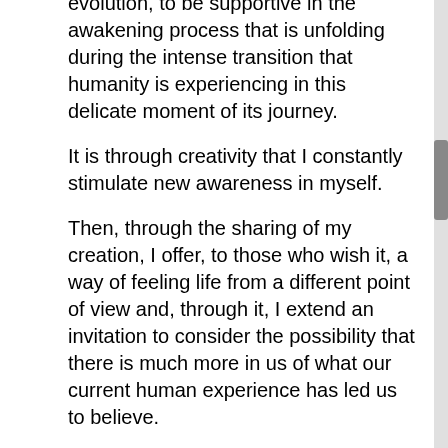evolution, to be supportive in the awakening process that is unfolding during the intense transition that humanity is experiencing in this delicate moment of its journey.
It is through creativity that I constantly stimulate new awareness in myself.
Then, through the sharing of my creation, I offer, to those who wish it, a way of feeling life from a different point of view and, through it, I extend an invitation to consider the possibility that there is much more in us of what our current human experience has led us to believe.
Each of us plays a fundamental role within the universal creative process and brings with it a unique and indispensable frequency for existence and for everything that is part of Source itself.
Therefore, I sincerely hope to inspire those who feel a resonance with my offering to embrace their uniqueness and their most intrinsic truth in order to trigger and ignite the recognition of that divinity that resides in each of us, opening the soul to a higher level of conscience and personal freedom.